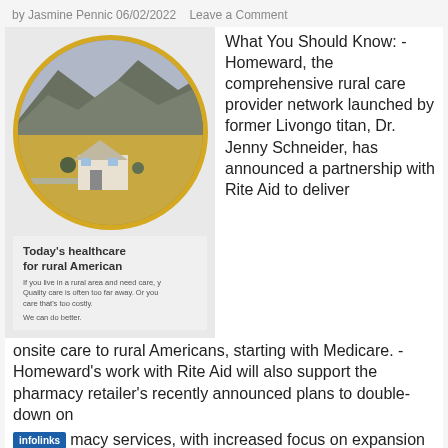by Jasmine Pennic 06/02/2022   Leave a Comment
[Figure (photo): Circular cropped photo of a rural landscape with a white farmhouse and mountains in the background, bordered in gold. Overlaid is a small card reading 'Today's healthcare for rural American' with subtext about rural care access.]
What You Should Know: - Homeward, the comprehensive rural care provider network launched by former Livongo titan, Dr. Jenny Schneider, has announced a partnership with Rite Aid to deliver onsite care to rural Americans, starting with Medicare. - Homeward's work with Rite Aid will also support the pharmacy retailer's recently announced plans to double-down on pharmacy services, with increased focus on expansion in
[Figure (screenshot): Advertisement banner: infolinks label on left, Wayfair.com ad with thumbnail, title 'Wayfair.com - Online Home Store Sale!', subtext 'Shop for A Zillion Things Home across all styles at Wayfair!', URL www.wayfair.com, close button and blue arrow button on right.]